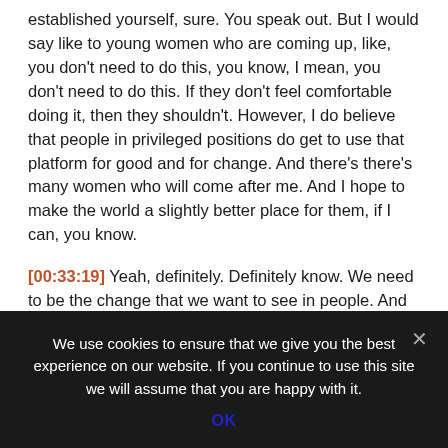established yourself, sure. You speak out. But I would say like to young women who are coming up, like, you don't need to do this, you know, I mean, you don't need to do this. If they don't feel comfortable doing it, then they shouldn't. However, I do believe that people in privileged positions do get to use that platform for good and for change. And there's there's many women who will come after me. And I hope to make the world a slightly better place for them, if I can, you know.
[00:33:19] Yeah, definitely. Definitely know. We need to be the change that we want to see in people. And we say, yeah, good luck with on the set what we try to get behind ourselves. Because I said even here with
We use cookies to ensure that we give you the best experience on our website. If you continue to use this site we will assume that you are happy with it.
OK